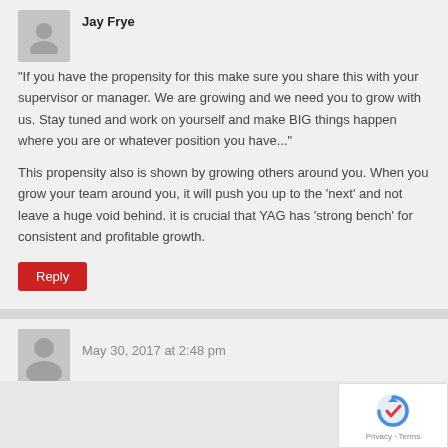[Figure (other): User avatar placeholder - gray silhouette]
Jay Frye
“If you have the propensity for this make sure you share this with your supervisor or manager. We are growing and we need you to grow with us. Stay tuned and work on yourself and make BIG things happen where you are or whatever position you have...”
This propensity also is shown by growing others around you. When you grow your team around you, it will push you up to the ‘next’ and not leave a huge void behind. it is crucial that YAG has ‘strong bench’ for consistent and profitable growth.
Reply
May 30, 2017 at 2:48 pm
[Figure (other): User avatar placeholder - gray silhouette]
[Figure (other): reCAPTCHA badge with Privacy and Terms links]